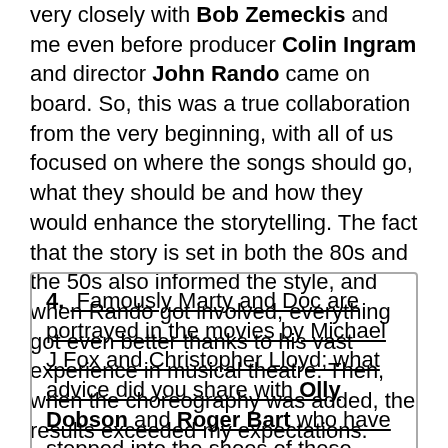very closely with Bob Zemeckis and me even before producer Colin Ingram and director John Rando came on board. So, this was a true collaboration from the very beginning, with all of us focused on where the songs should go, what they should be and how they would enhance the storytelling. The fact that the story is set in both the 80s and the 50s also informed the style, and when Rando got involved, everything got even better thanks to his vast experience in musical theatre. Then, when the choreography was added, the results exceeded my expectations.
4. Famously Marty and Doc are portrayed in the movies by Michael J Fox and Christopher Lloyd; what advice did you share with Olly Dobson and Roger Bart who have stepped into the shoes of these iconic characters?